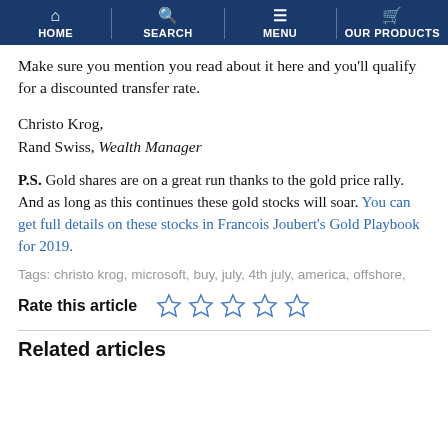HOME | SEARCH | MENU | OUR PRODUCTS
Make sure you mention you read about it here and you'll qualify for a discounted transfer rate.
Christo Krog,
Rand Swiss, Wealth Manager
P.S. Gold shares are on a great run thanks to the gold price rally. And as long as this continues these gold stocks will soar. You can get full details on these stocks in Francois Joubert's Gold Playbook for 2019.
Tags: christo krog, microsoft, buy, july, 4th july, america, offshore,
Rate this article
Related articles